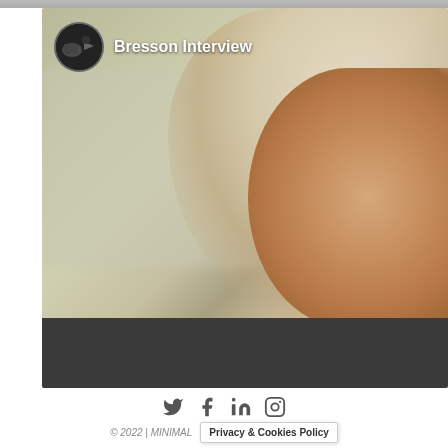[Figure (screenshot): Video thumbnail for 'Bresson Interview' showing a blurred image of an elderly person's profile/head and ear against a muted beige/grey wall background, with a circular channel avatar and channel name overlay in the top-left corner]
[Figure (infographic): Social media icons row: Twitter (bird), Facebook (f), LinkedIn (in), Instagram (circle camera)]
© 2022 | MINIMAL
Privacy & Cookies Policy